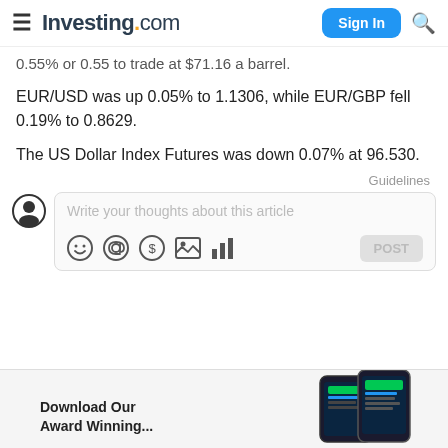Investing.com — Sign In
0.55% or 0.55 to trade at $71.16 a barrel.
EUR/USD was up 0.05% to 1.1306, while EUR/GBP fell 0.19% to 0.8629.
The US Dollar Index Futures was down 0.07% at 96.530.
Guidelines
Write your thoughts about this article
Download Our Award Winning...